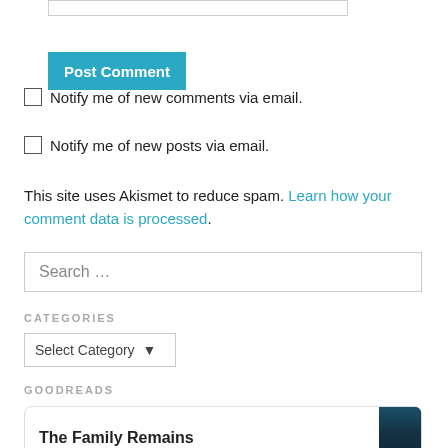[Figure (other): Input text field (partially visible at top)]
Post Comment
Notify me of new comments via email.
Notify me of new posts via email.
This site uses Akismet to reduce spam. Learn how your comment data is processed.
Search ...
CATEGORIES
Select Category
GOODREADS
The Family Remains